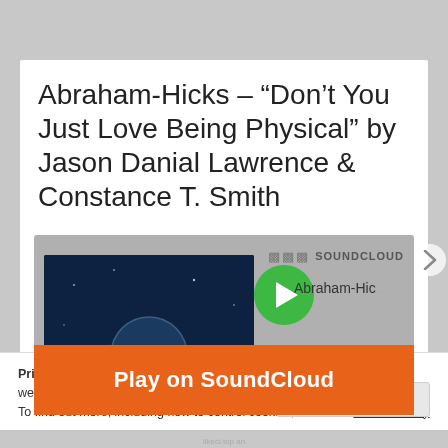Abraham-Hicks – “Don’t You Just Love Being Physical” by Jason Danial Lawrence & Constance T. Smith
[Figure (screenshot): SoundCloud embedded audio player showing 'Abraham-Hic' track with green play button, album art thumbnail, orange 'Play on SoundCloud' overlay button, 'Listen in browser' button, waveform, and 9:37 duration badge]
Privacy & Cookies: This site uses cookies. By continuing to use this website, you agree to their use.
To find out more, including how to control cookies, see here: Cookie Policy
Close and accept